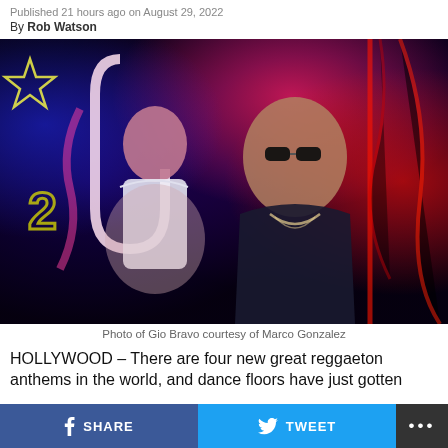Published 21 hours ago on August 29, 2022
By Rob Watson
[Figure (photo): Photo of two people, a woman in a white off-shoulder top and a man wearing dark sunglasses and a dark shirt, posed in front of colorful neon lights (pink, red, blue, yellow) in a dark room.]
Photo of Gio Bravo courtesy of Marco Gonzalez
HOLLYWOOD – There are four new great reggaeton anthems in the world, and dance floors have just gotten